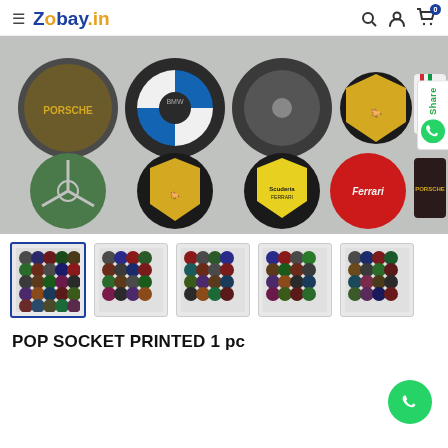Zobay.in
[Figure (photo): Product photo showing car brand logo pop sockets (Porsche, BMW, Alfa Romeo, Ferrari shield variants, Mercedes, Scuderia Ferrari, Ferrari red) arranged in two rows on a white background.]
[Figure (photo): Thumbnail 1 (selected) showing grid of car logo pop socket buttons.]
[Figure (photo): Thumbnail 2 showing grid of car logo pop socket buttons.]
[Figure (photo): Thumbnail 3 showing grid of car logo pop socket buttons.]
[Figure (photo): Thumbnail 4 showing grid of car logo pop socket buttons.]
[Figure (photo): Thumbnail 5 showing grid of car logo pop socket buttons.]
POP SOCKET PRINTED 1 pc